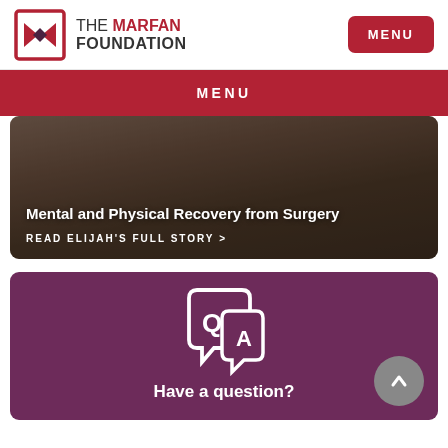THE MARFAN FOUNDATION | MENU
MENU
[Figure (photo): Person standing outdoors, shirtless, with a scar visible on chest, background is beach/outdoor setting. Overlay text: Mental and Physical Recovery from Surgery. READ ELIJAH'S FULL STORY >]
Mental and Physical Recovery from Surgery
READ ELIJAH'S FULL STORY >
[Figure (illustration): Q&A speech bubble icon in white on purple/maroon background. Text below: Have a question?]